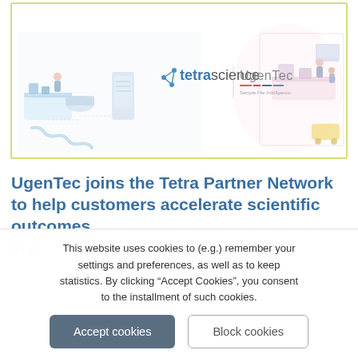[Figure (illustration): Banner image showing tetrascience and UgenTec logos side by side over an illustrated laboratory background with connected lab equipment diagrams. A gradient border runs along the bottom (yellow to red to blue). The illustration shows isometric lab scenes on the left and right sides.]
UgenTec joins the Tetra Partner Network to help customers accelerate scientific outcomes in...
This website uses cookies to (e.g.) remember your settings and preferences, as well as to keep statistics. By clicking “Accept Cookies”, you consent to the installment of such cookies.
Accept cookies
Block cookies